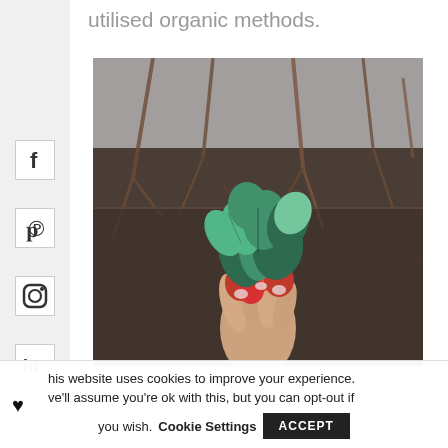utilised organic methods.
[Figure (photo): A hand holding a bunch of freshly picked radishes with green leafy tops, photographed outdoors against a background of bare winter branches and a wooden fence.]
This website uses cookies to improve your experience. We'll assume you're ok with this, but you can opt-out if you wish. Cookie Settings  ACCEPT